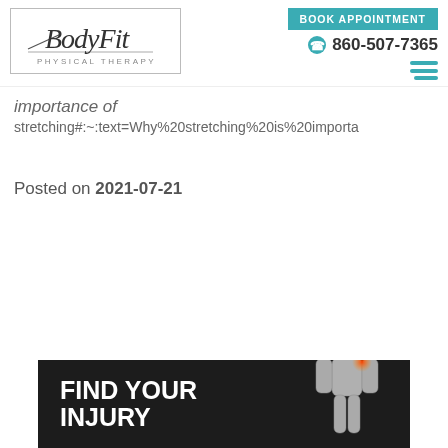[Figure (logo): BodyFit Physical Therapy logo in cursive with arrow graphic in a bordered box]
BOOK APPOINTMENT  860-507-7365
importance of stretching#:~:text=Why%20stretching%20is%20importa
Posted on 2021-07-21
[Figure (illustration): FIND YOUR INJURY banner with a muscular body figure showing injury hotspots on dark background]